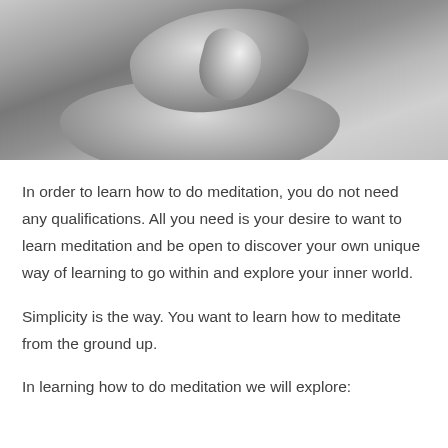[Figure (photo): Black and white photograph of stacked smooth rocks/pebbles, close-up view showing texture and balance of stones.]
In order to learn how to do meditation, you do not need any qualifications. All you need is your desire to want to learn meditation and be open to discover your own unique way of learning to go within and explore your inner world.
Simplicity is the way. You want to learn how to meditate from the ground up.
In learning how to do meditation we will explore: